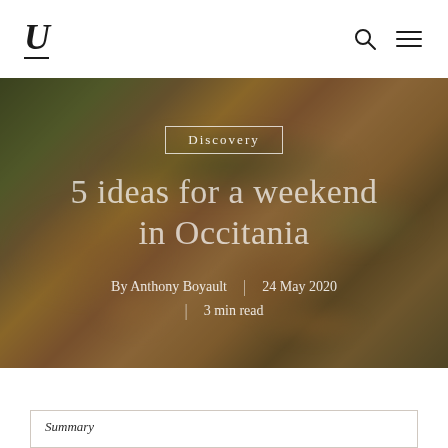U
[Figure (photo): Aerial blurred photograph of a village in Occitania, showing terracotta rooftops, stone buildings, and green hillside vegetation with warm earthy tones]
Discovery
5 ideas for a weekend in Occitania
By Anthony Boyault | 24 May 2020 | 3 min read
Summary